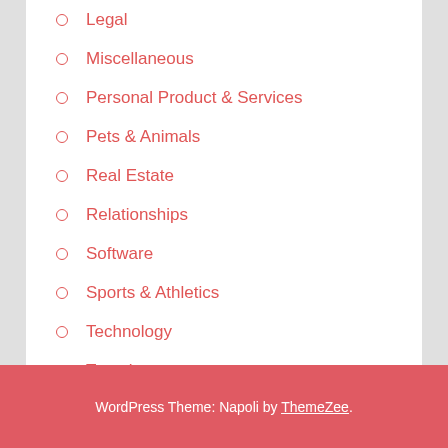Legal
Miscellaneous
Personal Product & Services
Pets & Animals
Real Estate
Relationships
Software
Sports & Athletics
Technology
Travel
Web Resources
WordPress Theme: Napoli by ThemeZee.